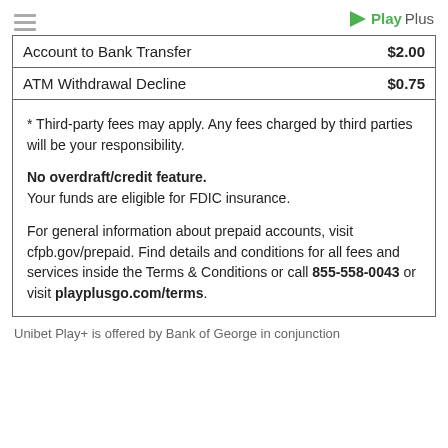PlayPlus
| Fee Type | Amount |
| --- | --- |
| Account to Bank Transfer | $2.00 |
| ATM Withdrawal Decline | $0.75 |
* Third-party fees may apply. Any fees charged by third parties will be your responsibility.

No overdraft/credit feature.
Your funds are eligible for FDIC insurance.

For general information about prepaid accounts, visit cfpb.gov/prepaid. Find details and conditions for all fees and services inside the Terms & Conditions or call 855-558-0043 or visit playplusgo.com/terms.
Unibet Play+ is offered by Bank of George in conjunction